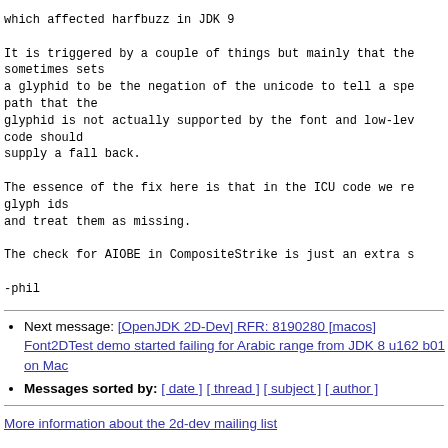which affected harfbuzz in JDK 9

It is triggered by a couple of things but mainly that the sometimes sets
a glyphid to be the negation of the unicode to tell a spe path that the
glyphid is not actually supported by the font and low-lev code should
supply a fall back.

The essence of the fix here is that in the ICU code we re glyph ids
and treat them as missing.

The check for AIOBE in CompositeStrike is just an extra s

-phil
Next message: [OpenJDK 2D-Dev] RFR: 8190280 [macos] Font2DTest demo started failing for Arabic range from JDK 8 u162 b01 on Mac
Messages sorted by: [ date ] [ thread ] [ subject ] [ author ]
More information about the 2d-dev mailing list